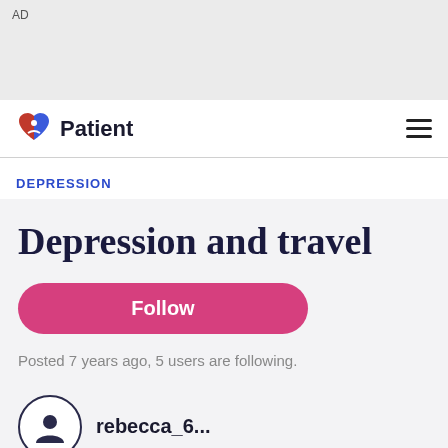AD
[Figure (logo): Patient website logo with heart icon and text 'Patient']
DEPRESSION
Depression and travel
Follow
Posted 7 years ago, 5 users are following.
rebecca_6...